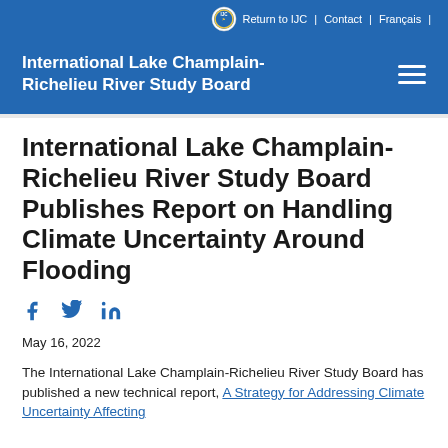Return to IJC | Contact | Français |
International Lake Champlain-Richelieu River Study Board
International Lake Champlain-Richelieu River Study Board Publishes Report on Handling Climate Uncertainty Around Flooding
May 16, 2022
The International Lake Champlain-Richelieu River Study Board has published a new technical report, A Strategy for Addressing Climate Uncertainty Affecting